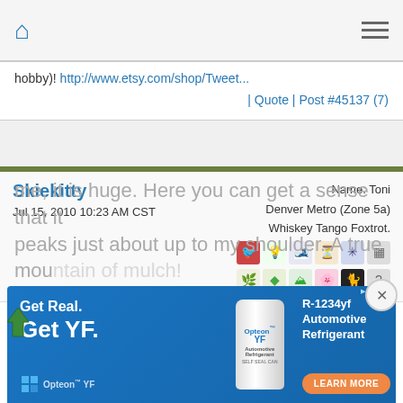Home | Menu
hobby)! http://www.etsy.com/shop/Tweet...
| Quote | Post #45137 (7)
Skiekitty
Jul 15, 2010 10:23 AM CST
Name: Toni
Denver Metro (Zone 5a)
Whiskey Tango Foxtrot.
And, speaking of a mountain of mulch in my driveway, here is a side shot of it. Doesn't quite give you a good idea of how big it is in total, but, believe me, it is huge. Here you can get a sense that it peaks just about up to my shoulder. A true mountain of mulch!
[Figure (screenshot): Advertisement for Opteon YF R-1234yf Automotive Refrigerant with blue background, can image, and Learn More button]